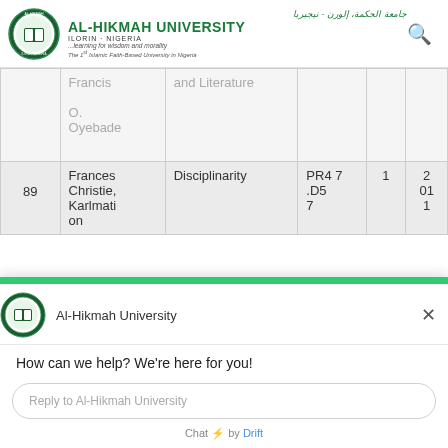Al-Hikmah University, Ilorin, Nigeria — Learning for wisdom and morality — The 1st Islamic Faith-Based University in Nigeria
|  | Francis | and Literature |  |  |
| --- | --- | --- | --- | --- |
|  | O. Oyebade |  |  |  |
| 89 | Frances Christie, Karlmation | Disciplinarity | PR4 7.D5 7 | 1 | 2 01 1 |
Al-Hikmah University
How can we help? We're here for you!
Reply to Al-Hikmah University
Chat ⚡ by Drift